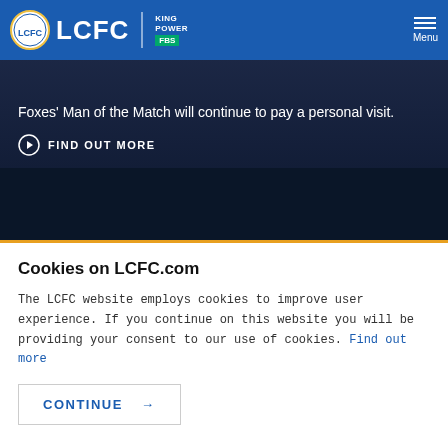LCFC | KING POWER FBS | Menu
Foxes' Man of the Match will continue to pay a personal visit.
FIND OUT MORE
[Figure (other): Dark navy banner with gold bottom border]
Cookies on LCFC.com
The LCFC website employs cookies to improve user experience. If you continue on this website you will be providing your consent to our use of cookies. Find out more
CONTINUE →